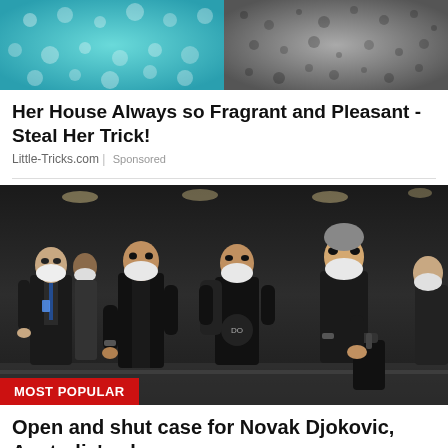[Figure (photo): Ad image showing two panels: left with teal/turquoise background with circular dots pattern, right with grey/dark textured background]
Her House Always so Fragrant and Pleasant - Steal Her Trick!
Little-Tricks.com | Sponsored
[Figure (photo): News photo of four men wearing white face masks walking through an airport terminal. A red badge in the lower left reads MOST POPULAR.]
Open and shut case for Novak Djokovic, Australia's shame